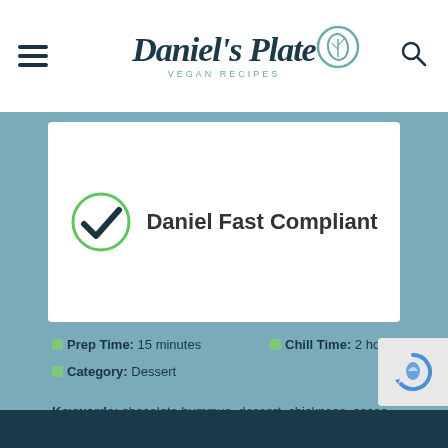[Figure (logo): Daniel's Plate Vegan Recipes logo with leaf badge, hamburger menu icon, and search icon]
[Figure (illustration): White card with green circle checkmark icon and text 'Daniel Fast Compliant']
Prep Time: 15 minutes
Chill Time: 2 hours
Category: Dessert
Keywords: chocolate hummus, dessert, chickpeas, cocoa, cacao, carob, strawberries, raspberries, almond milk, soy milk, nut free option, soy free option, gluten free, chia seeds, dessert, daniel fast compliant, vegan, low fat